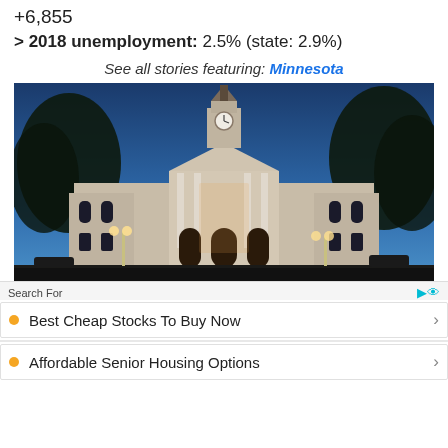+6,855
> 2018 unemployment: 2.5% (state: 2.9%)
See all stories featuring: Minnesota
[Figure (photo): Nighttime photo of a white neoclassical government building with clock tower, columns, and arched entryways, illuminated against a blue dusk sky with trees on either side]
Search For
Best Cheap Stocks To Buy Now
Affordable Senior Housing Options